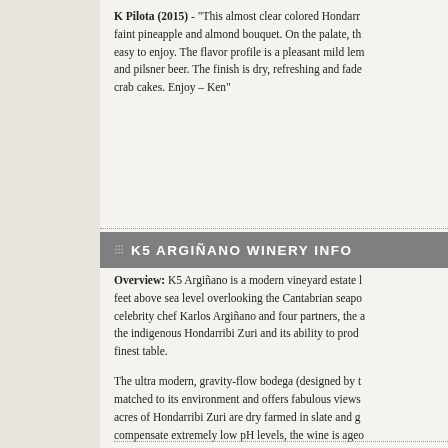K Pilota (2015) - "This almost clear colored Hondarr... faint pineapple and almond bouquet. On the palate, th... easy to enjoy. The flavor profile is a pleasant mild lem... and pilsner beer. The finish is dry, refreshing and fade... crab cakes. Enjoy – Ken"
K5 ARGIÑANO WINERY INFO
Overview: K5 Argiñano is a modern vineyard estate ... feet above sea level overlooking the Cantabrian seapo... celebrity chef Karlos Argiñano and four partners, the ... the indigenous Hondarribi Zuri and its ability to prod... finest table.
The ultra modern, gravity-flow bodega (designed by t... matched to its environment and offers fabulous views... acres of Hondarribi Zuri are dry farmed in slate and g... compensate extremely low pH levels, the wine is ageo...
There is no better match for the elegant simplicity of ...